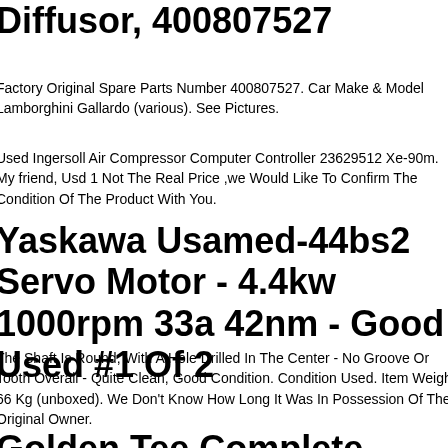Diffusor, 400807527
Factory Original Spare Parts Number 400807527. Car Make & Model Lamborghini Gallardo (various). See Pictures.
Used Ingersoll Air Compressor Computer Controller 23629512 Xe-90m. My friend, Usd 1 Not The Real Price ,we Would Like To Confirm The Condition Of The Product With You.
Yaskawa Usamed-44bs2 Servo Motor - 4.4kw 1000rpm 33a 42nm - Good Used #1 Of 2
The Shaft Is Round, With A Hole Drilled In The Center - No Groove Or Tooth Overall - Quite Clean, Good Condition. Condition Used. Item Weight 66 Kg (unboxed). We Don't Know How Long It Was In Possession Of The Original Owner.
Golden Tee Complete Stand Up Video Game-used